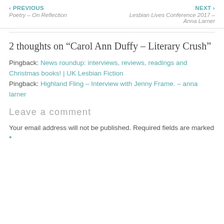‹ PREVIOUS
Poetry – On Reflection
NEXT ›
Lesbian Lives Conference 2017 – Anna Larner
2 thoughts on “Carol Ann Duffy – Literary Crush”
Pingback: News roundup: interviews, reviews, readings and Christmas books! | UK Lesbian Fiction
Pingback: Highland Fling – Interview with Jenny Frame. – anna larner
Leave a comment
Your email address will not be published. Required fields are marked *